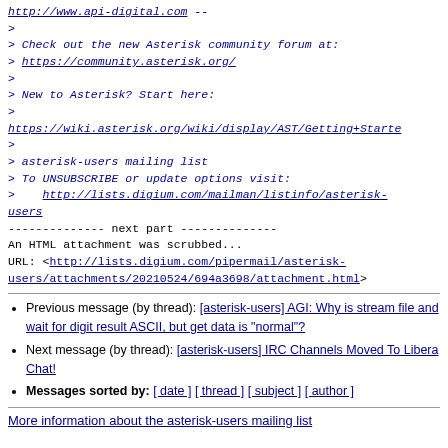http://www.api-digital.com --
>
> Check out the new Asterisk community forum at:
> https://community.asterisk.org/
>
> New to Asterisk? Start here:
>
https://wiki.asterisk.org/wiki/display/AST/Getting+Starte
>
> asterisk-users mailing list
> To UNSUBSCRIBE or update options visit:
>    http://lists.digium.com/mailman/listinfo/asterisk-users
-------------- next part --------------
An HTML attachment was scrubbed...
URL: <http://lists.digium.com/pipermail/asterisk-users/attachments/20210524/694a3698/attachment.html>
Previous message (by thread): [asterisk-users] AGI: Why is stream file and wait for digit result ASCII, but get data is "normal"?
Next message (by thread): [asterisk-users] IRC Channels Moved To Libera Chat!
Messages sorted by: [ date ] [ thread ] [ subject ] [ author ]
More information about the asterisk-users mailing list